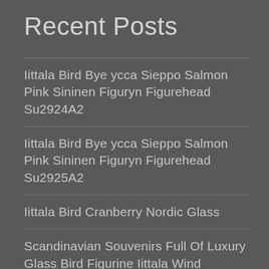Recent Posts
Iittala Bird Bye ycca Sieppo Salmon Pink Sininen Figuryn Figurehead Su2924A2
Iittala Bird Bye ycca Sieppo Salmon Pink Sininen Figuryn Figurehead Su2925A2
Iittala Bird Cranberry Nordic Glass
Scandinavian Souvenirs Full Of Luxury Glass Bird Figurine Iittala Wind
Mina Perhonen Iittala Glass Bird Water Green
Archives